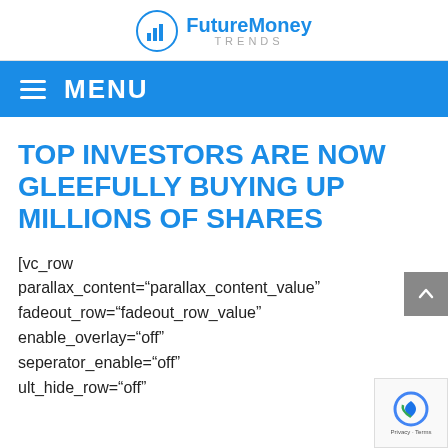FutureMoney TRENDS
MENU
TOP INVESTORS ARE NOW GLEEFULLY BUYING UP MILLIONS OF SHARES
[vc_row parallax_content="parallax_content_value" fadeout_row="fadeout_row_value" enable_overlay="off" seperator_enable="off" ult_hide_row="off"